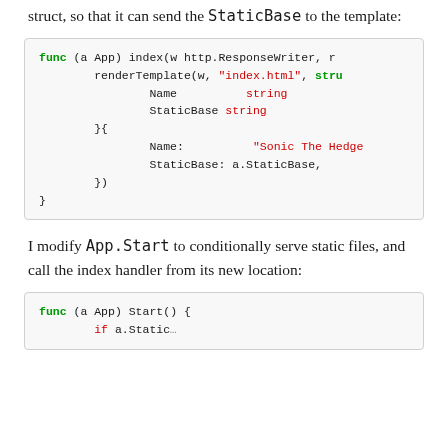struct, so that it can send the StaticBase to the template:
[Figure (screenshot): Code block showing Go function: func (a App) index(w http.ResponseWriter, r ...) { renderTemplate(w, "index.html", struct{ Name string; StaticBase string }{ Name: "Sonic The Hedge...", StaticBase: a.StaticBase, }) }]
I modify App.Start to conditionally serve static files, and call the index handler from its new location:
[Figure (screenshot): Code block showing start of Go function: func (a App) Start() { if a.StaticBase == "static" {]